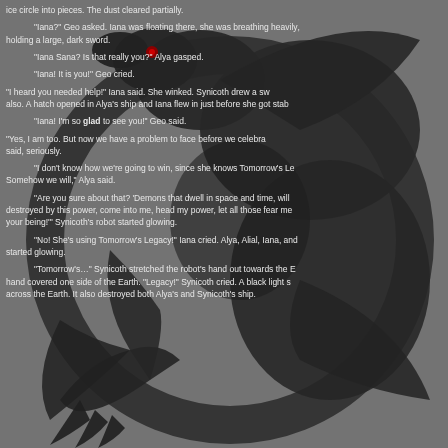[Figure (illustration): Dark dragon silhouette in a circular design, with red eye accent, on a grey background]
ice circle into pieces. The dust cleared partially.

"Iana?" Geo asked. Iana was floating there, she was breathing heavily, holding a large, dark sword.

"Iana Sana? Is that really you?" Alya gasped.

"Iana! It is you!" Geo cried.

"I heard you needed help!" Iana said. She winked. Synicoth drew a sw also. A hatch opened in Alya's ship and Iana flew in just before she got stab

"Iana! I'm so glad to see you!" Geo said.

"Yes, I am too. But now we have a problem to face before we celebra said, seriously.

"I don't know how we're going to win, since she knows Tomorrow's Le Somehow we will," Alya said.

"Are you sure about that? 'Demons that dwell in space and time, will destroyed by this power, come into me, head my power, let all those fear me your being!'" Synicoth's robot started glowing.

"No! She's using Tomorrow's Legacy!" Iana cried. Alya, Alial, Iana, and started glowing.

"Tomorrow's..." Synicoth stretched the robot's hand out towards the E hand covered one side of the Earth. "Legacy!" Synicoth cried. A black light s across the Earth. It also destroyed both Alya's and Synicoth's ship.